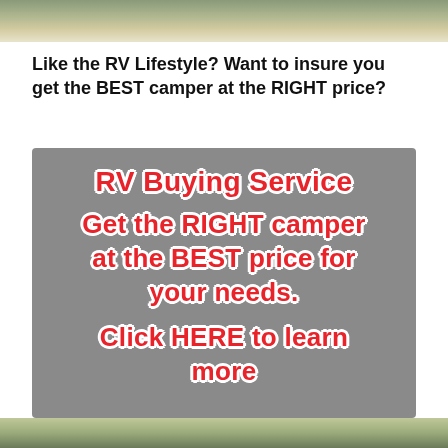[Figure (photo): Top decorative photo strip showing outdoor/nature scene]
Like the RV Lifestyle? Want to insure you get the BEST camper at the RIGHT price?
[Figure (infographic): Gray advertisement box with red text on white outline reading: RV Buying Service / Get the RIGHT camper at the BEST price for your needs. / Click HERE to learn more]
[Figure (photo): Bottom decorative photo strip showing outdoor/nature scene]